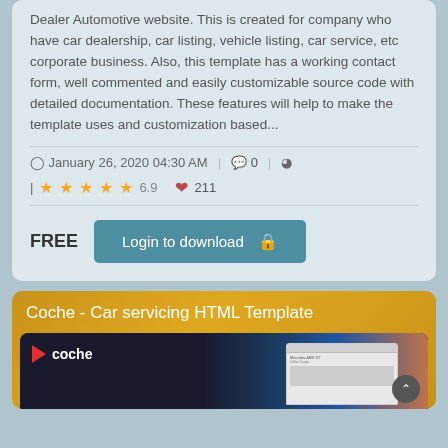Dealer Automotive website. This is created for company who have car dealership, car listing, vehicle listing, car service, etc corporate business. Also, this template has a working contact form, well commented and easily customizable source code with detailed documentation. These features will help to make the template uses and customization based...
January 26, 2020 04:30 AM | 0 | ☉ | ★★★★★ 6.9 | ♥ 211
FREE  Login to download 🔒
Coche - Car servicing HTML Template
[Figure (screenshot): Preview of Coche car servicing HTML template showing the Coche logo with red arrow, a car mockup in a browser window, and a colorful background with blue and orange tones.]